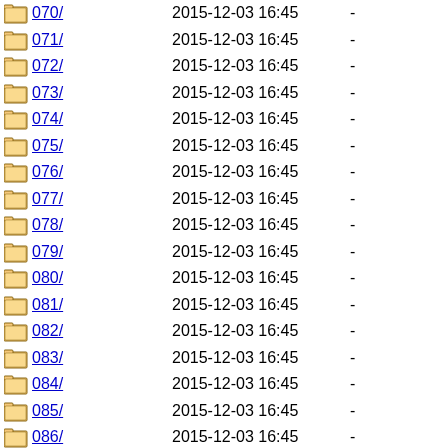070/ 2015-12-03 16:45 -
071/ 2015-12-03 16:45 -
072/ 2015-12-03 16:45 -
073/ 2015-12-03 16:45 -
074/ 2015-12-03 16:45 -
075/ 2015-12-03 16:45 -
076/ 2015-12-03 16:45 -
077/ 2015-12-03 16:45 -
078/ 2015-12-03 16:45 -
079/ 2015-12-03 16:45 -
080/ 2015-12-03 16:45 -
081/ 2015-12-03 16:45 -
082/ 2015-12-03 16:45 -
083/ 2015-12-03 16:45 -
084/ 2015-12-03 16:45 -
085/ 2015-12-03 16:45 -
086/ 2015-12-03 16:45 -
087/ 2015-12-03 16:45 -